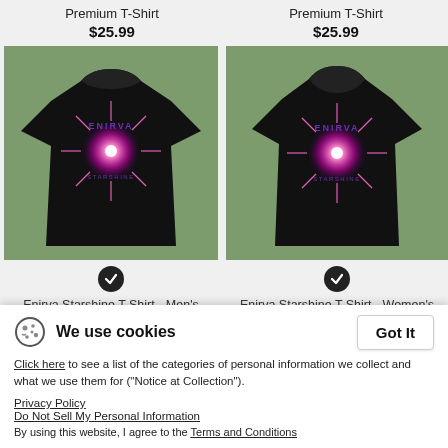Premium T-Shirt
$25.99
Premium T-Shirt
$25.99
[Figure (photo): Black men's premium t-shirt with Enirva Starshine graphic on green background]
[Figure (photo): Black women's premium t-shirt with Enirva Starshine graphic on green background]
Enirva Starshine T Shirt - Men's Premium T-Shirt
$25.99
Enirva Starshine T Shirt - Women's Premium T-Shirt
$25.99
We use cookies
Click here to see a list of the categories of personal information we collect and what we use them for ("Notice at Collection").
Privacy Policy
Do Not Sell My Personal Information
By using this website, I agree to the Terms and Conditions